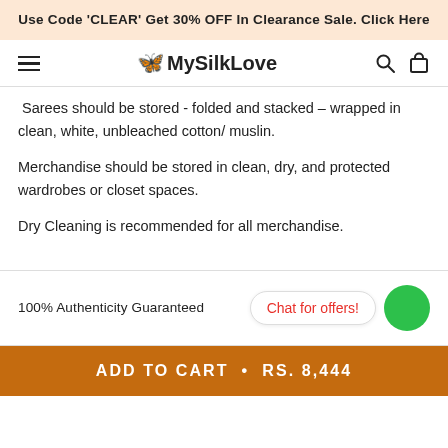Use Code 'CLEAR' Get 30% OFF In Clearance Sale. Click Here
MySilkLove
Sarees should be stored - folded and stacked – wrapped in clean, white, unbleached cotton/ muslin.
Merchandise should be stored in clean, dry, and protected wardrobes or closet spaces.
Dry Cleaning is recommended for all merchandise.
100% Authenticity Guaranteed
Chat for offers!
ADD TO CART  •  RS. 8,444